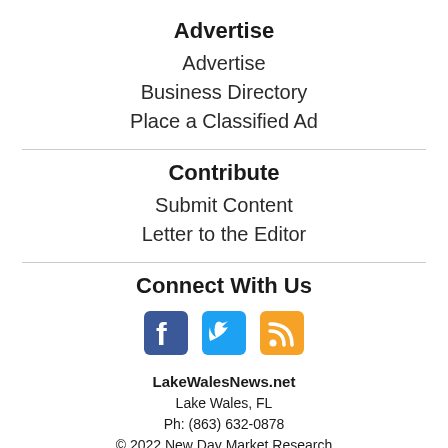Advertise
Advertise
Business Directory
Place a Classified Ad
Contribute
Submit Content
Letter to the Editor
Connect With Us
[Figure (infographic): Social media icons: Facebook (blue), Twitter (blue bird), RSS feed (orange)]
LakeWalesNews.net
Lake Wales, FL
Ph: (863) 632-0878
© 2022 New Day Market Research